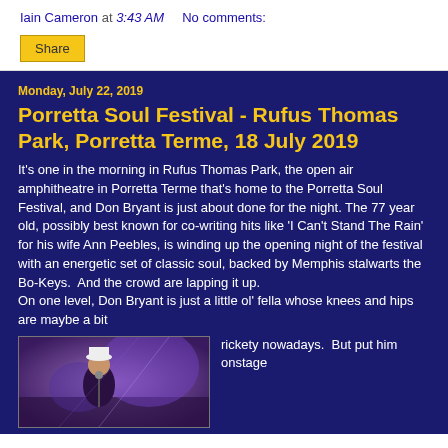Iain Cameron at 3:43 AM   No comments:
Share
Monday, July 22, 2019
Porretta Soul Festival - Rufus Thomas Park, Porretta Terme, 18 July 2019
It’s one in the morning in Rufus Thomas Park, the open air amphitheatre in Porretta Terme that’s home to the Porretta Soul Festival, and Don Bryant is just about done for the night. The 77 year old, possibly best known for co-writing hits like ‘I Can’t Stand The Rain’ for his wife Ann Peebles, is winding up the opening night of the festival with an energetic set of classic soul, backed by Memphis stalwarts the Bo-Keys.  And the crowd are lapping it up.
On one level, Don Bryant is just a little ol’ fella whose knees and hips are maybe a bit
[Figure (photo): Photo of a performer on stage wearing a white hat, purple stage lighting in the background]
rickety nowadays.  But put him onstage